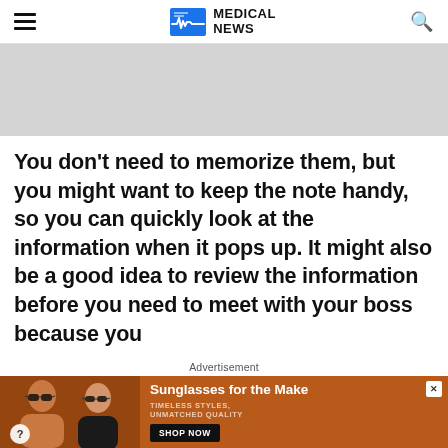MEDICAL NEWS
[Figure (illustration): Grey rectangular banner placeholder for advertisement]
You don't need to memorize them, but you might want to keep the note handy, so you can quickly look at the information when it pops up. It might also be a good idea to review the information before you need to meet with your boss because you
Advertisement
[Figure (photo): Advertisement banner showing two women wearing sunglasses with text 'Sunglasses for the Make, Timeless Styles, Unmatched Quality' and a SHOP NOW button]